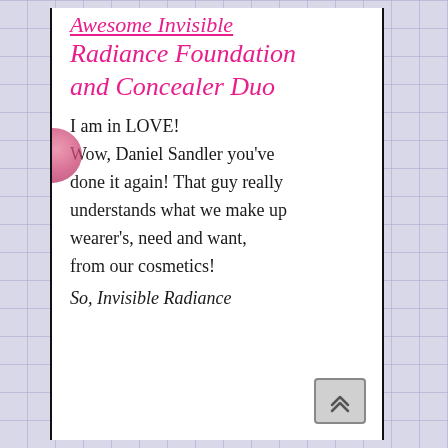Awesome Invisible Radiance Foundation and Concealer Duo
I am in LOVE! Wow, Daniel Sandler you've done it again! That guy really understands what we make up wearer's, need and want, from our cosmetics!
So, Invisible Radiance Foundation and Concealer